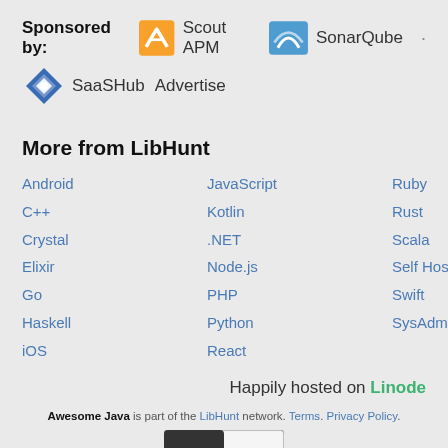Sponsored by: Scout APM · SonarQube · SaaSHub Advertise
More from LibHunt
Android
JavaScript
Ruby
C++
Kotlin
Rust
Crystal
.NET
Scala
Elixir
Node.js
Self Hosted
Go
PHP
Swift
Haskell
Python
SysAdmin
iOS
React
Happily hosted on Linode
Awesome Java is part of the LibHunt network. Terms. Privacy Policy.